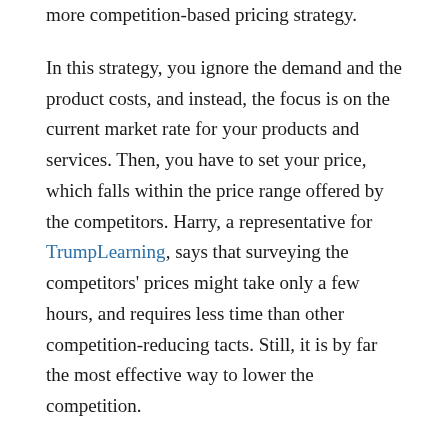more competition-based pricing strategy.
In this strategy, you ignore the demand and the product costs, and instead, the focus is on the current market rate for your products and services. Then, you have to set your price, which falls within the price range offered by the competitors. Harry, a representative for TrumpLearning, says that surveying the competitors' prices might take only a few hours, and requires less time than other competition-reducing tacts. Still, it is by far the most effective way to lower the competition.
Make changes to ensure that the business stays ahead of